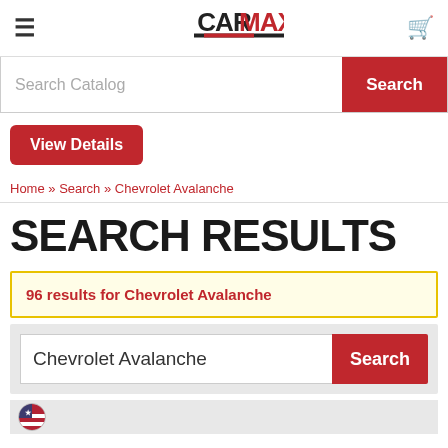CarMax navigation header with hamburger menu, logo, and cart icon
Search Catalog | Search
View Details
Home » Search » Chevrolet Avalanche
SEARCH RESULTS
96 results for Chevrolet Avalanche
Chevrolet Avalanche | Search